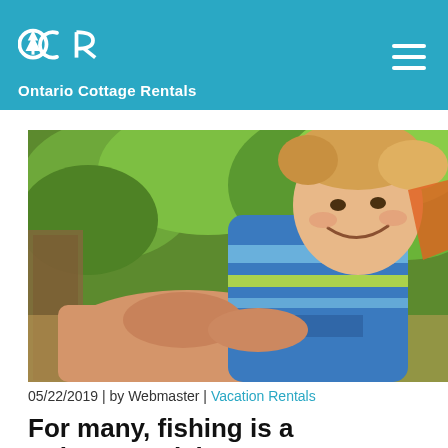Ontario Cottage Rentals
[Figure (photo): A young smiling child wearing a blue and green Connelly life jacket being held by an adult, outdoors with green trees in the background.]
05/22/2019 | by Webmaster | Vacation Rentals
For many, fishing is a quintessential